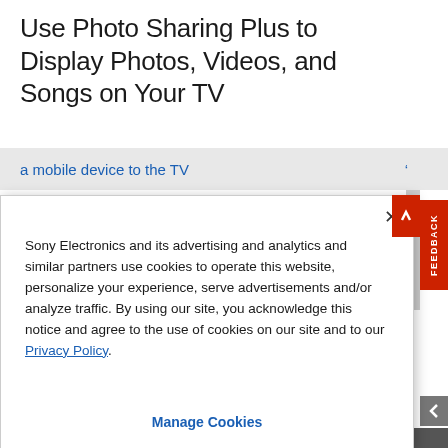Use Photo Sharing Plus to Display Photos, Videos, and Songs on Your TV
a mobile device to the TV
Sony Electronics and its advertising and analytics and similar partners use cookies to operate this website, personalize your experience, serve advertisements and/or analyze traffic. By using our site, you acknowledge this notice and agree to the use of cookies on our site and to our Privacy Policy.
Manage Cookies